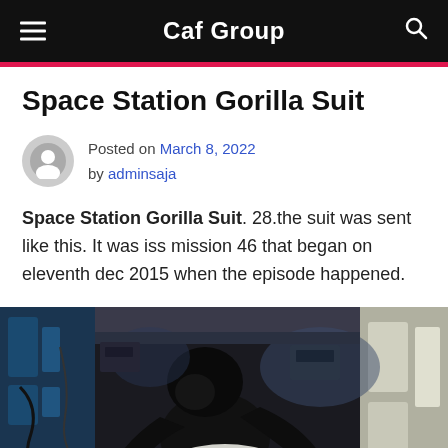Caf Group
Space Station Gorilla Suit
Posted on March 8, 2022 by adminsaja
Space Station Gorilla Suit. 28.the suit was sent like this. It was iss mission 46 that began on eleventh dec 2015 when the episode happened.
[Figure (photo): A person in a gorilla suit floating inside the International Space Station (ISS), surrounded by equipment, cables, and machinery typical of the ISS interior. The gorilla suit is black and the surroundings include blue equipment on the left and white/beige equipment on the right.]